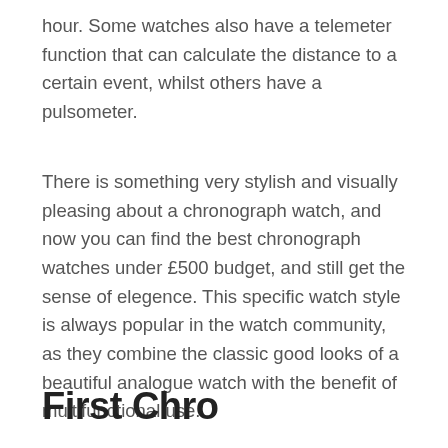hour. Some watches also have a telemeter function that can calculate the distance to a certain event, whilst others have a pulsometer.
There is something very stylish and visually pleasing about a chronograph watch, and now you can find the best chronograph watches under £500 budget, and still get the sense of elegence. This specific watch style is always popular in the watch community, as they combine the classic good looks of a beautiful analogue watch with the benefit of multifunctional use.
First Chro